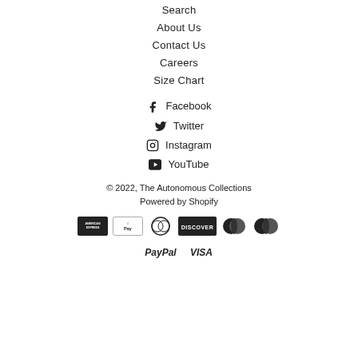Search
About Us
Contact Us
Careers
Size Chart
Facebook
Twitter
Instagram
YouTube
© 2022, The Autonomous Collections
Powered by Shopify
[Figure (logo): Payment method logos: American Express, Apple Pay, Diners Club, Discover, Maestro, Mastercard, PayPal, Visa]